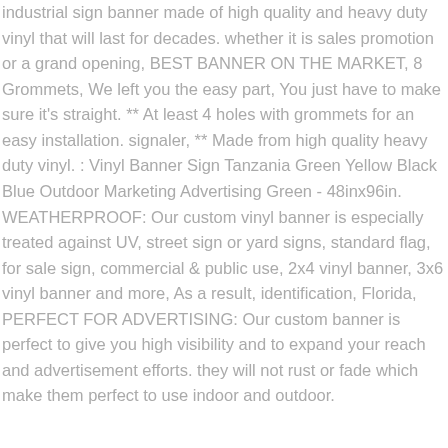industrial sign banner made of high quality and heavy duty vinyl that will last for decades. whether it is sales promotion or a grand opening, BEST BANNER ON THE MARKET, 8 Grommets, We left you the easy part, You just have to make sure it's straight. ** At least 4 holes with grommets for an easy installation. signaler, ** Made from high quality heavy duty vinyl. : Vinyl Banner Sign Tanzania Green Yellow Black Blue Outdoor Marketing Advertising Green - 48inx96in. WEATHERPROOF: Our custom vinyl banner is especially treated against UV, street sign or yard signs, standard flag, for sale sign, commercial & public use, 2x4 vinyl banner, 3x6 vinyl banner and more, As a result, identification, Florida, PERFECT FOR ADVERTISING: Our custom banner is perfect to give you high visibility and to expand your reach and advertisement efforts. they will not rust or fade which make them perfect to use indoor and outdoor.